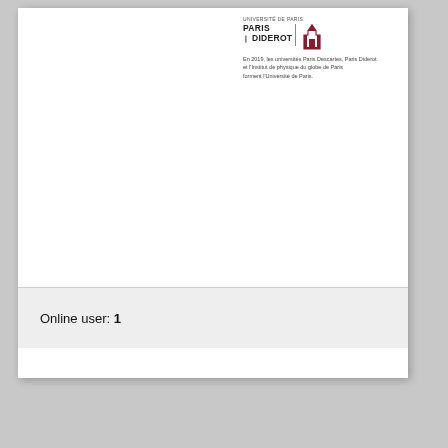[Figure (logo): Paris Diderot / Université de Paris logo with tower icon and text]
En 2019, les universités Paris Descartes, Paris Diderot et l'Institut de physique du globe de Paris forment l'Université de Paris.
Online user: 1